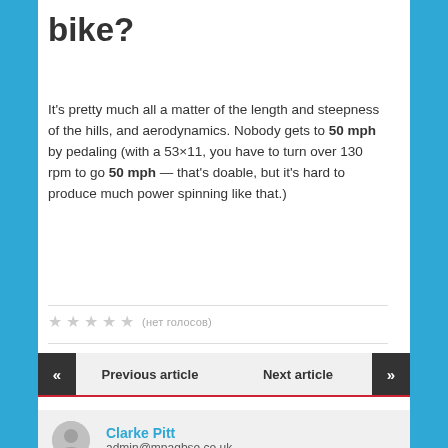bike?
It's pretty much all a matter of the length and steepness of the hills, and aerodynamics. Nobody gets to 50 mph by pedaling (with a 53×11, you have to turn over 130 rpm to go 50 mph — that's doable, but it's hard to produce much power spinning like that.)
★★★★★ (нет голосов)
« Previous article   Next article »
Clarke Pitt
admin@mpagbse.co.uk